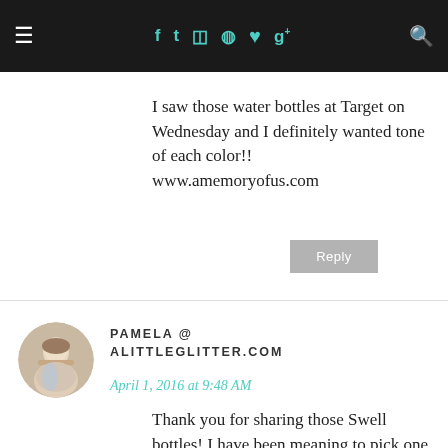≡  f  t  ☷  ℗  ♥  g+  🔍
I saw those water bottles at Target on Wednesday and I definitely wanted tone of each color!! www.amemoryofus.com
Reply
PAMELA @ ALITTLEGLITTER.COM
April 1, 2016 at 9:48 AM
Thank you for sharing those Swell bottles! I have been meaning to pick one up and